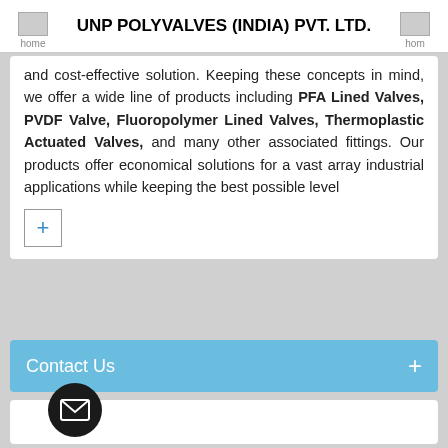UNP POLYVALVES (INDIA) PVT. LTD.
and cost-effective solution. Keeping these concepts in mind, we offer a wide line of products including PFA Lined Valves, PVDF Valve, Fluoropolymer Lined Valves, Thermoplastic Actuated Valves, and many other associated fittings. Our products offer economical solutions for a vast array industrial applications while keeping the best possible level
Contact Us
[Figure (infographic): Send Inquiry button with envelope icon inside a black circle and bold label 'Send Inquiry' below]